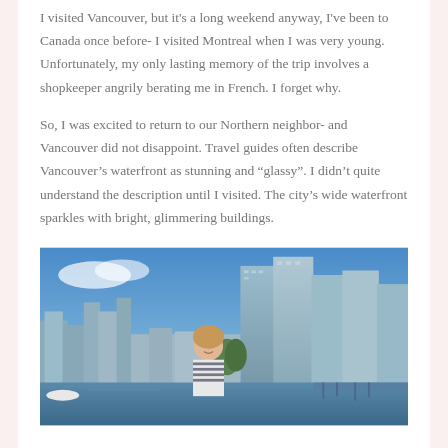I visited Vancouver, but it's a long weekend anyway, I've been to Canada once before- I visited Montreal when I was very young. Unfortunately, my only lasting memory of the trip involves a shopkeeper angrily berating me in French. I forget why.
So, I was excited to return to our Northern neighbor- and Vancouver did not disappoint. Travel guides often describe Vancouver's waterfront as stunning and "glassy". I didn't quite understand the description until I visited. The city's wide waterfront sparkles with bright, glimmering buildings.
[Figure (photo): A woman standing in front of Vancouver's waterfront skyline with tall glass buildings and blue sky. She is wearing a striped top and smiling. The foreground shows water with boats/marina.]